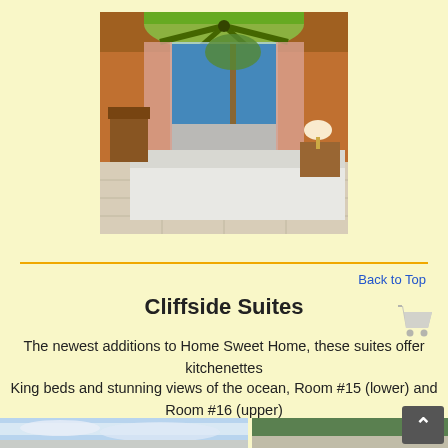[Figure (photo): Interior hotel room photo showing a bed with white linens, orange walls, arched window with green ceiling fan above, view of ocean and palm tree through sliding glass doors, wooden furniture]
Back to Top
Cliffside Suites
The newest additions to Home Sweet Home, these suites offer kitchenettes
King beds and stunning views of the ocean, Room #15 (lower) and Room #16 (upper)
[Figure (photo): Partial view of two photos at bottom: left shows sky with clouds, right shows green painted interior wall/ceiling]
[Figure (other): Shopping cart icon]